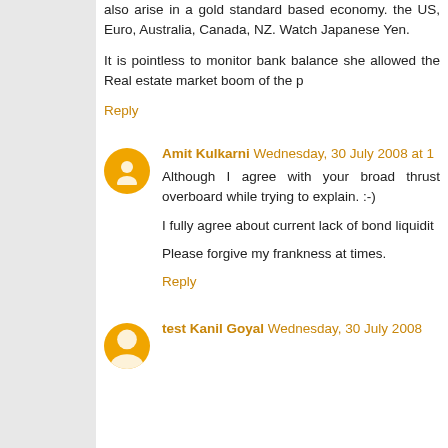also arise in a gold standard based economy. the US, Euro, Australia, Canada, NZ. Watch Japanese Yen.
It is pointless to monitor bank balance she allowed the Real estate market boom of the p
Reply
Amit Kulkarni Wednesday, 30 July 2008 at 1
Although I agree with your broad thrust overboard while trying to explain. :-)
I fully agree about current lack of bond liquidit
Please forgive my frankness at times.
Reply
test Kanil Goyal Wednesday, 30 July 2008...